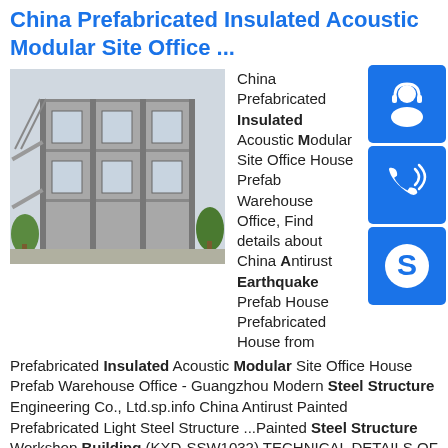China Prefabricated Insulated Acoustic Modular Site Office ...
[Figure (photo): Multi-story prefabricated steel structure building with external staircases and balconies, surrounded by trees]
China Prefabricated Insulated Acoustic Modular Site Office House Prefab Warehouse Office, Find details about China Antirust Earthquake Prefab House Prefabricated House from Prefabricated Insulated Acoustic Modular Site Office House Prefab Warehouse Office - Guangzhou Modern Steel Structure Engineering Co., Ltd.sp.info China Antirust Painted Prefabricated Light Steel Structure ...Painted Steel Structure Workshop Building (KXD-SSW1032) TECHNICAL DETAILS OF STEEL STRUCTURE BUILDINGS: 1. Wind Load, Snow Load, Earthquake and Rainfall 2. Length, Width, Eave Height and Roof Slope 3. Single Floor or Multi-floor 4. Clear Span or Multi-span 5. Requirements on the brick wall 6.